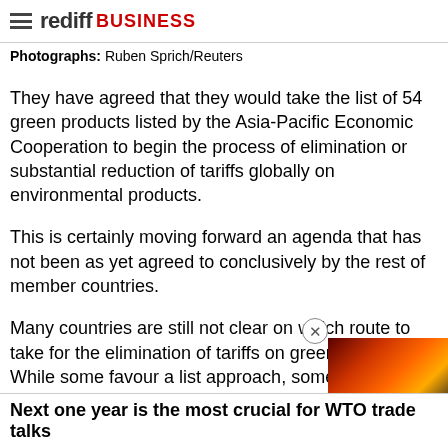rediff BUSINESS
Photographs: Ruben Sprich/Reuters
They have agreed that they would take the list of 54 green products listed by the Asia-Pacific Economic Cooperation to begin the process of elimination or substantial reduction of tariffs globally on environmental products.
This is certainly moving forward an agenda that has not been as yet agreed to conclusively by the rest of member countries.
Many countries are still not clear on which route to take for the elimination of tariffs on green goods. While some favour a list approach, some others prefer a definition approach.
This will certainly be followed by the demand for sectoral elimination of tariffs.
Fourteen sectors have been previously identified for deeper tariff elimination under the sectoral negoti...
...
[Figure (photo): Ad overlay image with fire/orange colors in bottom right corner with close button]
Next one year is the most crucial for WTO trade talks